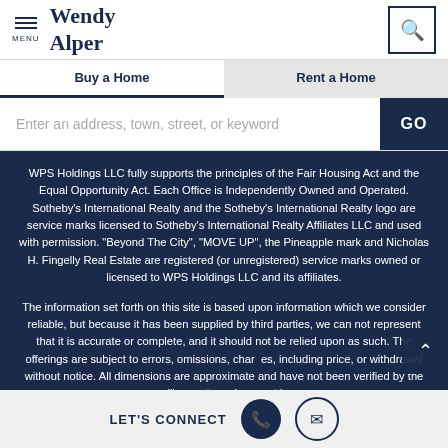Wendy Alper — MENU header with search icon
Buy a Home | Rent a Home
Enter an address, town, street, or keyword
WPS Holdings LLC fully supports the principles of the Fair Housing Act and the Equal Opportunity Act. Each Office is Independently Owned and Operated. Sotheby's International Realty and the Sotheby's International Realty logo are service marks licensed to Sotheby's International Realty Affiliates LLC and used with permission. "Beyond The City", "MOVE UP", the Pineapple mark and Nicholas H. Fingelly Real Estate are registered (or unregistered) service marks owned or licensed to WPS Holdings LLC and its affiliates.
The information set forth on this site is based upon information which we consider reliable, but because it has been supplied by third parties, we can not represent that it is accurate or complete, and it should not be relied upon as such. The offerings are subject to errors, omissions, changes, including price, or withdrawal without notice. All dimensions are approximate and have not been verified by the selling party and can not be
LET'S CONNECT